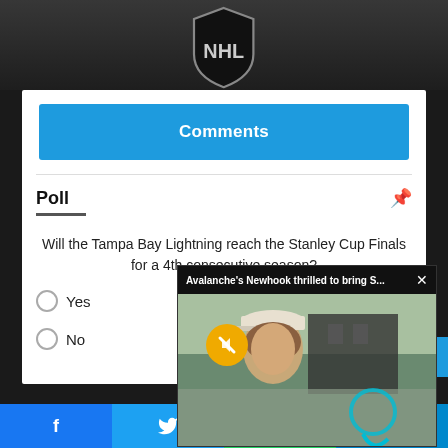[Figure (photo): NHL logo on a dark hockey jersey background, grayscale]
Comments
Poll
Will the Tampa Bay Lightning reach the Stanley Cup Finals for a 4th consecutive season?
Yes
No
[Figure (screenshot): Video popup overlay: Avalanche's Newhook thrilled to bring S... with a muted video thumbnail showing a young man in a baseball cap outdoors]
Facebook | Twitter | WhatsApp | Telegram share buttons